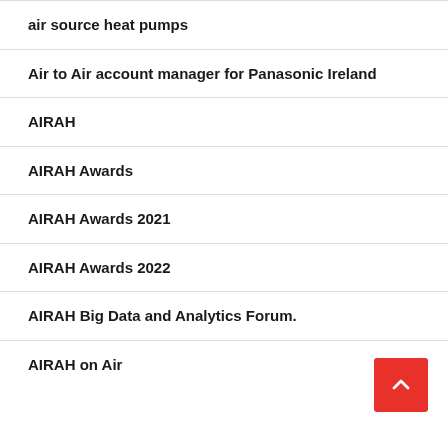air source heat pumps
Air to Air account manager for Panasonic Ireland
AIRAH
AIRAH Awards
AIRAH Awards 2021
AIRAH Awards 2022
AIRAH Big Data and Analytics Forum.
AIRAH on Air